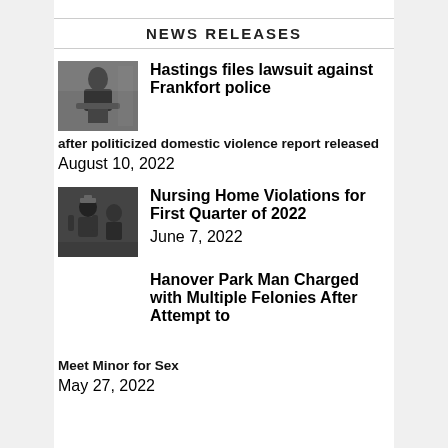NEWS RELEASES
Hastings files lawsuit against Frankfort police after politicized domestic violence report released
August 10, 2022
Nursing Home Violations for First Quarter of 2022
June 7, 2022
Hanover Park Man Charged with Multiple Felonies After Attempt to Meet Minor for Sex
May 27, 2022